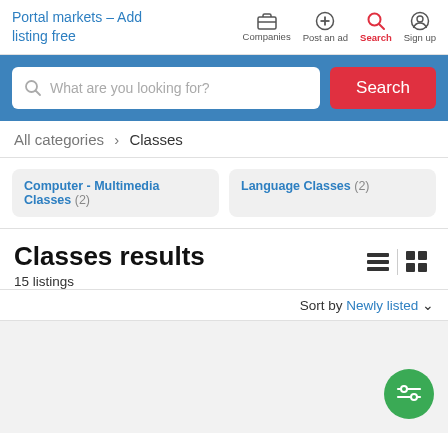Portal markets - Add listing free
Companies | Post an ad | Search | Sign up
[Figure (screenshot): Search bar with placeholder 'What are you looking for?' and red Search button on blue background]
All categories > Classes
Computer - Multimedia Classes (2)
Language Classes (2)
Classes results
15 listings
Sort by Newly listed